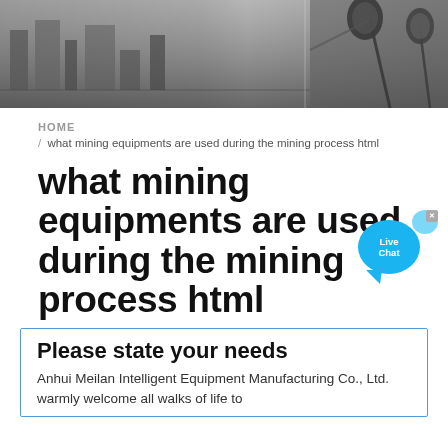[Figure (photo): Header banner photo showing a factory/industrial floor and a microphone/recording studio setup side by side]
HOME / what mining equipments are used during the mining process html
what mining equipments are used during the mining process html
Please state your needs
Anhui Meilan Intelligent Equipment Manufacturing Co., Ltd. warmly welcome all walks of life to